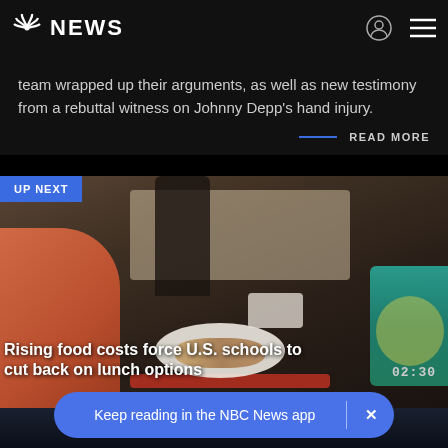NBC NEWS
team wrapped up their arguments, as well as new testimony from a rebuttal witness on Johnny Depp's hand injury.
READ MORE
[Figure (screenshot): UP NEXT banner over cafeteria video still showing school lunch tray with food, plate, and teal box in background]
Rising food costs force U.S. schools to cut back on lunch options
02:30
Keep reading in the NBC News app